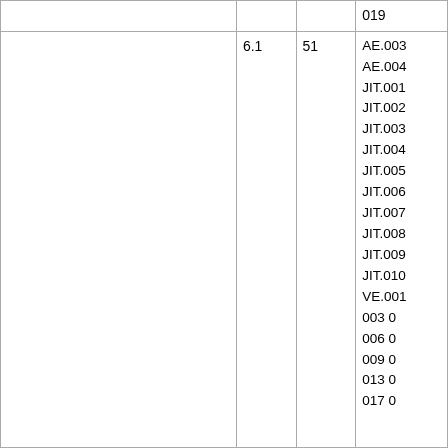|  |  |  | 019 |
| 6.1 | 51 |  | AE.003
AE.004
JIT.001
JIT.002
JIT.003
JIT.004
JIT.005
JIT.006
JIT.007
JIT.008
JIT.009
JIT.010
VE.001
003 0
006 0
009 0
013 0
017 0 |